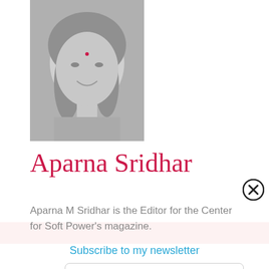[Figure (photo): Grayscale profile photo of a woman with long hair, smiling, positioned at the top-left of the page.]
Aparna Sridhar
Aparna M Sridhar is the Editor for the Center for Soft Power's magazine.
Subscribe to my newsletter
First Name *
Email *